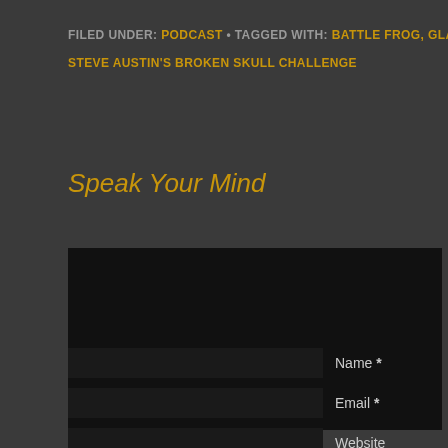FILED UNDER: PODCAST • TAGGED WITH: BATTLE FROG, GLADIATOR ROCK A STEVE AUSTIN'S BROKEN SKULL CHALLENGE
Speak Your Mind
[Figure (other): Comment textarea input box (dark background)]
Name *
Email *
Website
POST COMMENT